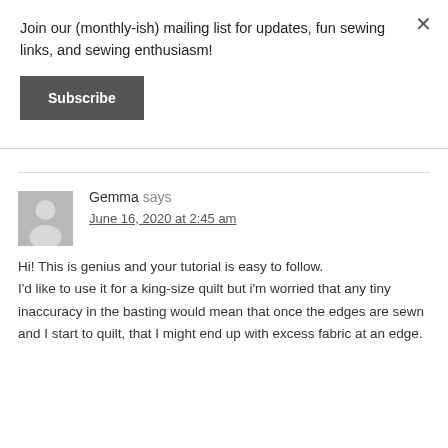Join our (monthly-ish) mailing list for updates, fun sewing links, and sewing enthusiasm!
Subscribe
Gemma says
June 16, 2020 at 2:45 am
Hi! This is genius and your tutorial is easy to follow.
I'd like to use it for a king-size quilt but i'm worried that any tiny inaccuracy in the basting would mean that once the edges are sewn and I start to quilt, that I might end up with excess fabric at an edge.